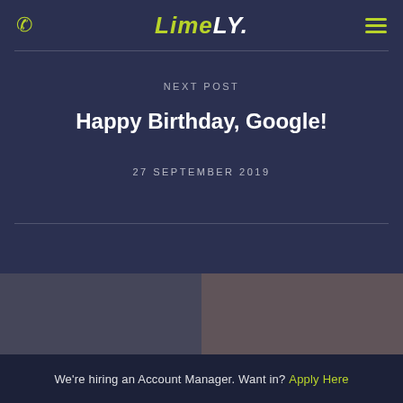LimeLY.
NEXT POST
Happy Birthday, Google!
27 SEPTEMBER 2019
[Figure (photo): Two-panel image strip at the bottom of the page showing people in work/office settings]
We're hiring an Account Manager. Want in? Apply Here